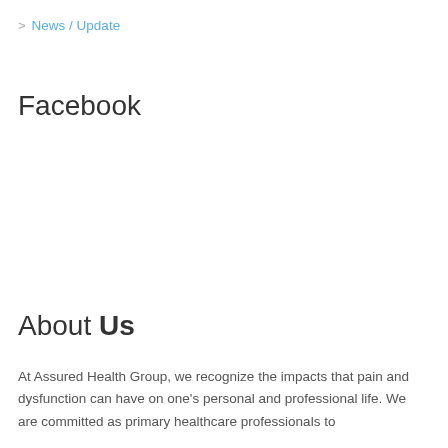> News / Update
Facebook
About Us
At Assured Health Group, we recognize the impacts that pain and dysfunction can have on one's personal and professional life. We are committed as primary healthcare professionals to